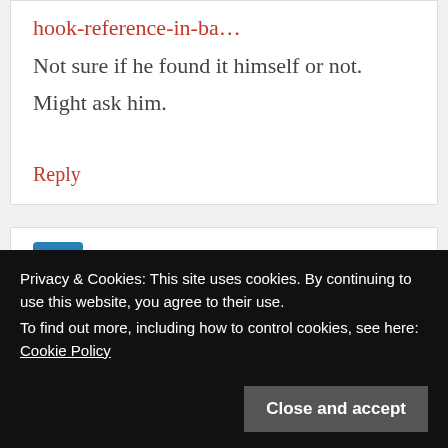hook-reference-in-ba...
Not sure if he found it himself or not.
Might ask him.
Reply
@Nick11766 says:
December 20, 2012 at 01:21
What else have they done?
Privacy & Cookies: This site uses cookies. By continuing to use this website, you agree to their use.
To find out more, including how to control cookies, see here:
Cookie Policy
Close and accept
Reply